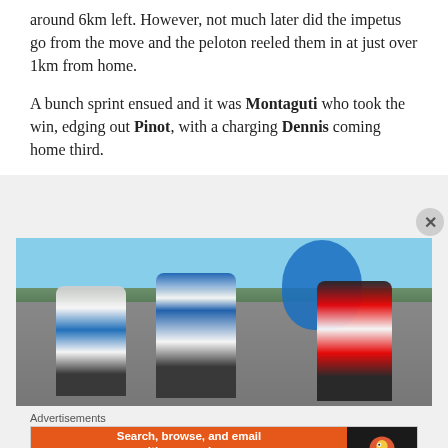around 6km left. However, not much later did the impetus go from the move and the peloton reeled them in at just over 1km from home.

A bunch sprint ensued and it was Montaguti who took the win, edging out Pinot, with a charging Dennis coming home third.
[Figure (photo): Cycling sprint finish photo showing multiple riders in a bunch sprint, with blue balloon/inflatable arch in background, riders wearing various team kits including blue/white and red/black.]
Advertisements
[Figure (screenshot): DuckDuckGo advertisement banner: 'Search, browse, and email with more privacy. All in One Free App' on orange background with DuckDuckGo logo on dark right panel.]